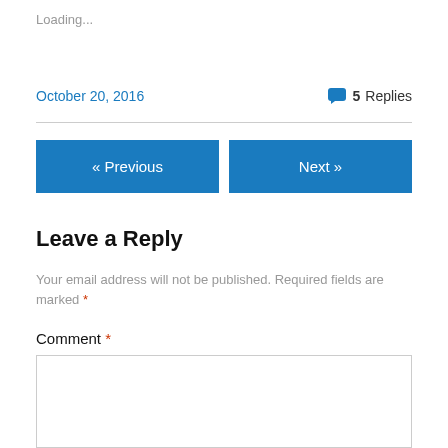Loading...
October 20, 2016
5 Replies
« Previous
Next »
Leave a Reply
Your email address will not be published. Required fields are marked *
Comment *